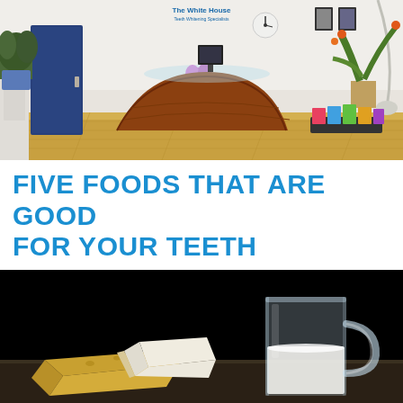[Figure (photo): Reception area of The White House Teeth Whitening Specialists dental clinic, showing a curved walnut reception desk, blue door, plants, glass desk top, hardwood floor, and magazines on a rack]
FIVE FOODS THAT ARE GOOD FOR YOUR TEETH
[Figure (photo): Cheese wedges and a glass pitcher of milk on a dark wooden table against a black background]